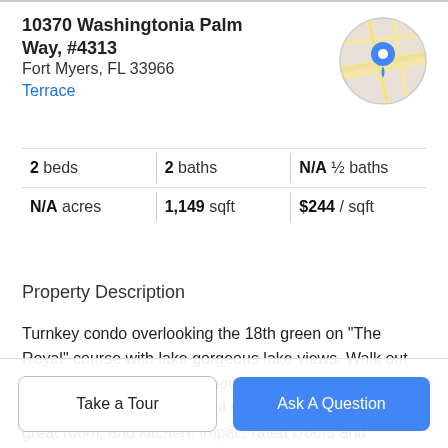10370 Washingtonia Palm Way, #4313
Fort Myers, FL 33966
Terrace
[Figure (map): Circular map thumbnail showing the property location with a blue pin marker, road lines on a light beige/gray map background.]
| Stat | Value |
| --- | --- |
| 2 beds | 2 baths | N/A ½ baths |
| N/A acres | 1,149 sqft | $244 / sqft |
Property Description
Turnkey condo overlooking the 18th green on "The Royal" course with lake gorgeous lake views. Walk out your Lanai door and its a short walk to the clubhouse and Pool! Enjoy the beautiful sunsets from your lanai, great room, and kitchen. Impact rated Doors and Windows! The screened